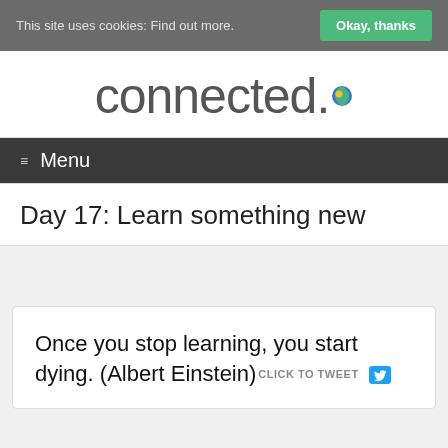This site uses cookies: Find out more.   Okay, thanks
connected.
≡  Menu
Day 17: Learn something new
Once you stop learning, you start dying. (Albert Einstein) CLICK TO TWEET